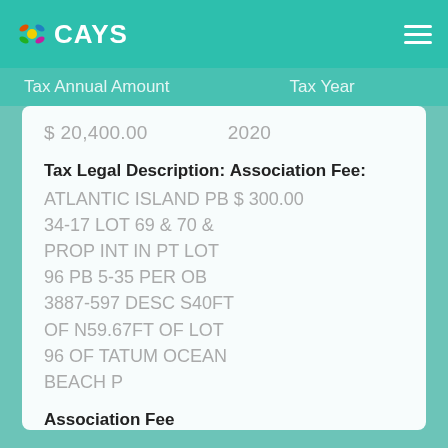CAYS
Tax Annual Amount   Tax Year
$ 20,400.00   2020
Tax Legal Description: Association Fee:
ATLANTIC ISLAND PB $ 300.00
34-17 LOT 69 & 70 &
PROP INT IN PT LOT
96 PB 5-35 PER OB
3887-597 DESC S40FT
OF N59.67FT OF LOT
96 OF TATUM OCEAN
BEACH P
Association Fee Frequency:
Annually